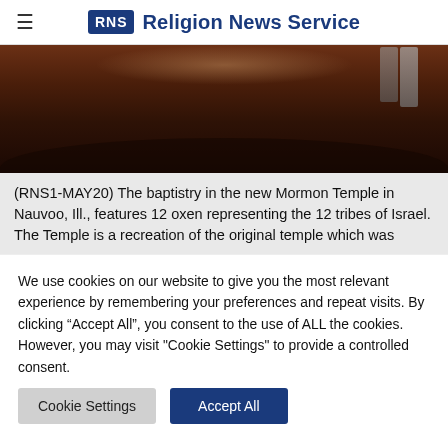RNS Religion News Service
[Figure (photo): Close-up photo of the baptistry interior of the new Mormon Temple in Nauvoo, Illinois, showing a large circular dark-colored basin with decorative elements.]
(RNS1-MAY20) The baptistry in the new Mormon Temple in Nauvoo, Ill., features 12 oxen representing the 12 tribes of Israel. The Temple is a recreation of the original temple which was
We use cookies on our website to give you the most relevant experience by remembering your preferences and repeat visits. By clicking “Accept All”, you consent to the use of ALL the cookies. However, you may visit "Cookie Settings" to provide a controlled consent.
Cookie Settings
Accept All